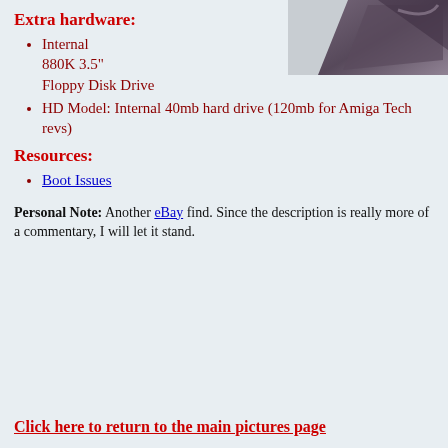[Figure (photo): Partial photo of a dark-colored hardware device, cropped at top-right corner of page]
Extra hardware:
Internal 880K 3.5" Floppy Disk Drive
HD Model: Internal 40mb hard drive (120mb for Amiga Tech revs)
Resources:
Boot Issues
Personal Note: Another eBay find. Since the description is really more of a commentary, I will let it stand.
Click here to return to the main pictures page